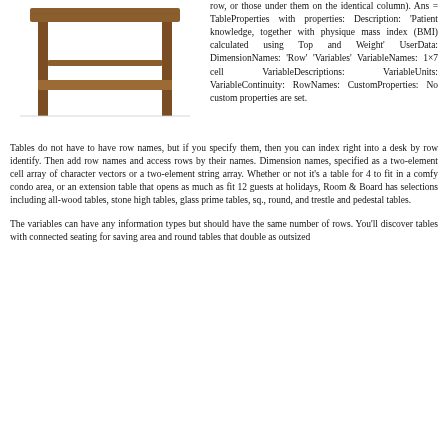[Figure (photo): Wooden side table with lower shelf, brown/walnut finish]
row, or those under them on the identical column). Ans = TableProperties with properties: Description: 'Patient knowledge, together with physique mass index (BMI) calculated using Top and Weight' UserData: DimensionNames: 'Row' 'Variables' VariableNames: 1×7 cell VariableDescriptions: VariableUnits: VariableContinuity: RowNames: CustomProperties: No custom properties are set.
Tables do not have to have row names, but if you specify them, then you can index right into a desk by row identify. Then add row names and access rows by their names. Dimension names, specified as a two-element cell array of character vectors or a two-element string array. Whether or not it's a table for 4 to fit in a comfy condo area, or an extension table that opens as much as fit 12 guests at holidays, Room & Board has selections including all-wood tables, stone high tables, glass prime tables, sq., round, and trestle and pedestal tables.
The variables can have any information types but should have the same number of rows. You'll discover tables with connected seating for saving area and round tables that double as outsized